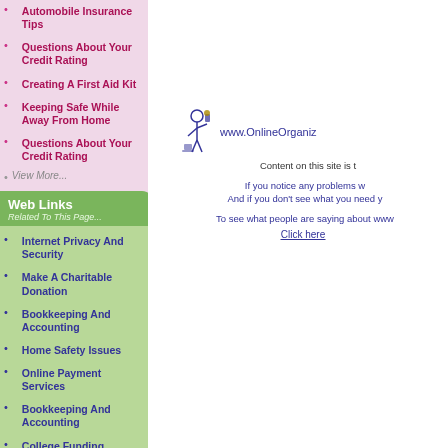Automobile Insurance Tips
Questions About Your Credit Rating
Creating A First Aid Kit
Keeping Safe While Away From Home
Questions About Your Credit Rating
View More...
Web Links Related To This Page...
Internet Privacy And Security
Make A Charitable Donation
Bookkeeping And Accounting
Home Safety Issues
Online Payment Services
Bookkeeping And Accounting
College Funding Options
Disaster Preparedness
[Figure (logo): www.OnlineOrganiz... logo with decorative figure]
Content on this site is t
If you notice any problems w... And if you don't see what you need y...
To see what people are saying about www...
Click here